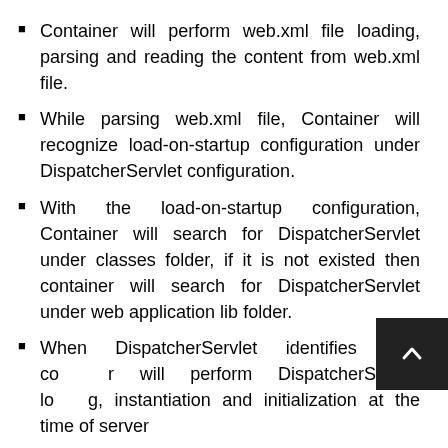Container will perform web.xml file loading, parsing and reading the content from web.xml file.
While parsing web.xml file, Container will recognize load-on-startup configuration under DispatcherServlet configuration.
With the load-on-startup configuration, Container will search for DispatcherServlet under classes folder, if it is not existed then container will search for DispatcherServlet under web application lib folder.
When DispatcherServlet identifies then container will perform DispatcherServlet loading, instantiation and initialization at the time of server